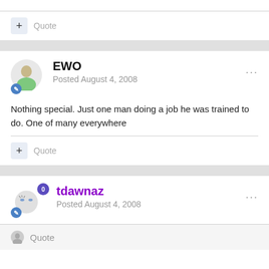Quote
EWO
Posted August 4, 2008
Nothing special. Just one man doing a job he was trained to do. One of many everywhere
Quote
tdawnaz
Posted August 4, 2008
Quote